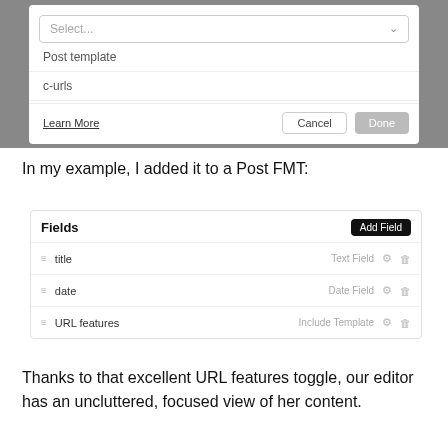[Figure (screenshot): Dialog/dropdown UI showing a Select... dropdown with options 'Post template' and 'c-urls', plus Learn More link and Cancel/Done buttons]
In my example, I added it to a Post FMT:
[Figure (screenshot): Fields panel showing title (Text Field), date (Date Field), and URL features (Include Template) rows with Add Field button]
Thanks to that excellent URL features toggle, our editor has an uncluttered, focused view of her content.